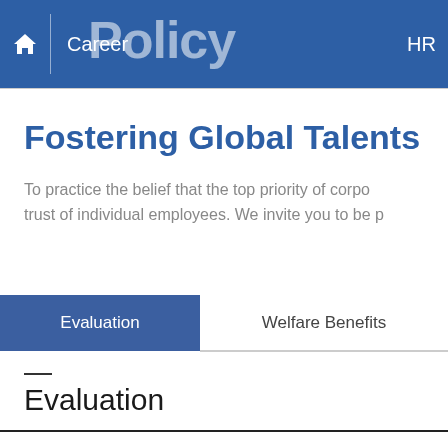Career | HR Policy   HR
Fostering Global Talents
To practice the belief that the top priority of corpo... trust of individual employees. We invite you to be p...
Evaluation | Welfare Benefits
Evaluation